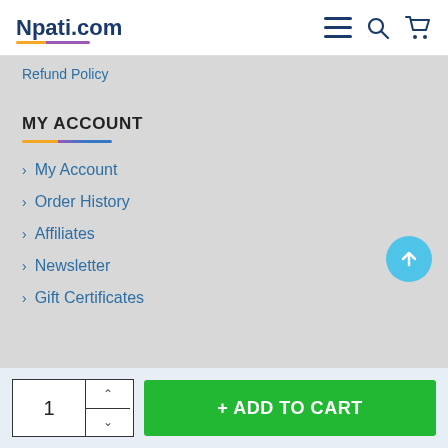Npati.com
Refund Policy
MY ACCOUNT
> My Account
> Order History
> Affiliates
> Newsletter
> Gift Certificates
CUSTOMER SERVICE
+ ADD TO CART